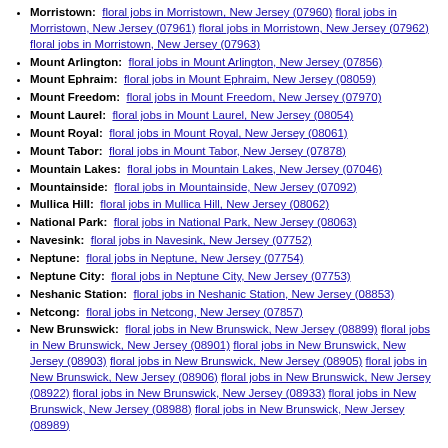Morristown: floral jobs in Morristown, New Jersey (07960) floral jobs in Morristown, New Jersey (07961) floral jobs in Morristown, New Jersey (07962) floral jobs in Morristown, New Jersey (07963)
Mount Arlington: floral jobs in Mount Arlington, New Jersey (07856)
Mount Ephraim: floral jobs in Mount Ephraim, New Jersey (08059)
Mount Freedom: floral jobs in Mount Freedom, New Jersey (07970)
Mount Laurel: floral jobs in Mount Laurel, New Jersey (08054)
Mount Royal: floral jobs in Mount Royal, New Jersey (08061)
Mount Tabor: floral jobs in Mount Tabor, New Jersey (07878)
Mountain Lakes: floral jobs in Mountain Lakes, New Jersey (07046)
Mountainside: floral jobs in Mountainside, New Jersey (07092)
Mullica Hill: floral jobs in Mullica Hill, New Jersey (08062)
National Park: floral jobs in National Park, New Jersey (08063)
Navesink: floral jobs in Navesink, New Jersey (07752)
Neptune: floral jobs in Neptune, New Jersey (07754)
Neptune City: floral jobs in Neptune City, New Jersey (07753)
Neshanic Station: floral jobs in Neshanic Station, New Jersey (08853)
Netcong: floral jobs in Netcong, New Jersey (07857)
New Brunswick: floral jobs in New Brunswick, New Jersey (08899) floral jobs in New Brunswick, New Jersey (08901) floral jobs in New Brunswick, New Jersey (08903) floral jobs in New Brunswick, New Jersey (08905) floral jobs in New Brunswick, New Jersey (08906) floral jobs in New Brunswick, New Jersey (08922) floral jobs in New Brunswick, New Jersey (08933) floral jobs in New Brunswick, New Jersey (08988) floral jobs in New Brunswick, New Jersey (08989)